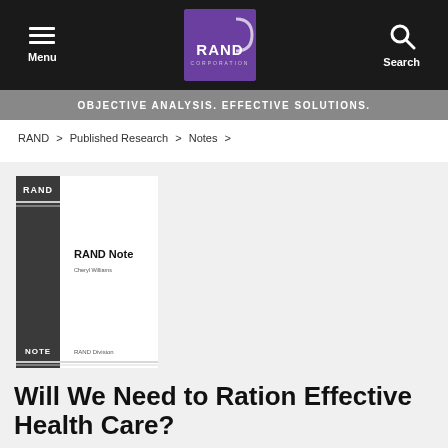Menu | RAND Corporation | Search
OBJECTIVE ANALYSIS. EFFECTIVE SOLUTIONS.
RAND > Published Research > Notes >
[Figure (illustration): RAND Note publication cover thumbnail showing a dark sidebar with RAND logo at top, 'RAND Note' title text, subtitle text, 'NOTE' label at bottom left, and 'RAND Division' text at bottom right]
Will We Need to Ration Effective Health Care?